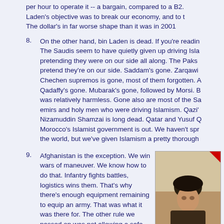per hour to operate it -- a bargain, compared to a B2. Laden's objective was to break our economy, and to t The dollar's in far worse shape than it was in 2001
8. On the other hand, bin Laden is dead. If you're readin The Saudis seem to have quietly given up driving Isla pretending they were on our side all along. The Paks pretend they're on our side. Saddam's gone. Zarqawi Chechen supremos is gone, most of them forgotten. A Qadaffy's gone. Mubarak's gone, followed by Morsi. B was relatively harmless. Gone also are most of the Sa emirs and holy men who were driving Islamism. Qazi' Nizamuddin Shamzai is long dead. Qatar and Yusuf Q Morocco's Islamist government is out. We haven't spr the world, but we've given Islamism a pretty thorough
9. Afghanistan is the exception. We win wars of maneuver. We know how to do that. Infantry fights battles, logistics wins them. That's why there's enough equipment remaining to equip an army. That was what it was there for. The other rule we passed on was not allowing a safe haven. The Vietnamese commies had
[Figure (photo): Photo of a man wearing a dark turban, appearing to be in a desert setting. A red triangle is visible in the top right corner of the image.]